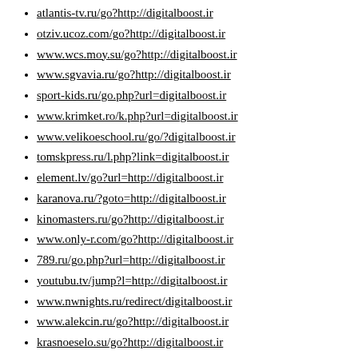atlantis-tv.ru/go?http://digitalboost.ir
otziv.ucoz.com/go?http://digitalboost.ir
www.wcs.moy.su/go?http://digitalboost.ir
www.sgvavia.ru/go?http://digitalboost.ir
sport-kids.ru/go.php?url=digitalboost.ir
www.krimket.ro/k.php?url=digitalboost.ir
www.velikoeschool.ru/go/?digitalboost.ir
tomskpress.ru/l.php?link=digitalboost.ir
element.lv/go?url=http://digitalboost.ir
karanova.ru/?goto=http://digitalboost.ir
kinomasters.ru/go?http://digitalboost.ir
www.only-r.com/go?http://digitalboost.ir
789.ru/go.php?url=http://digitalboost.ir
youtubu.tv/jump?l=http://digitalboost.ir
www.nwnights.ru/redirect/digitalboost.ir
www.alekcin.ru/go?http://digitalboost.ir
krasnoeselo.su/go?http://digitalboost.ir
game-era.do.am/go?http://digitalboost.ir
inminecraft.ru/go?http://digitalboost.ir